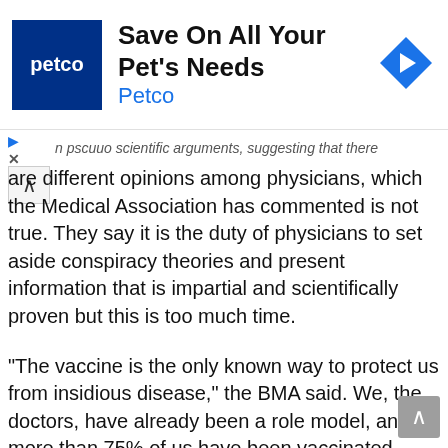[Figure (screenshot): Petco advertisement banner with logo, title 'Save On All Your Pet's Needs', subtitle 'Petco', and a blue diamond navigation icon on the right.]
...pseudo scientific arguments, suggesting that there are different opinions among physicians, which the Medical Association has commented is not true. They say it is the duty of physicians to set aside conspiracy theories and present information that is impartial and scientifically proven but this is too much time.
“The vaccine is the only known way to protect us from insidious disease,” the BMA said. We, the doctors, have already been a role model, and more than 75% of us have been vaccinated, along with our sick colleagues, the organization notes that we are 90 percent protected physicians.